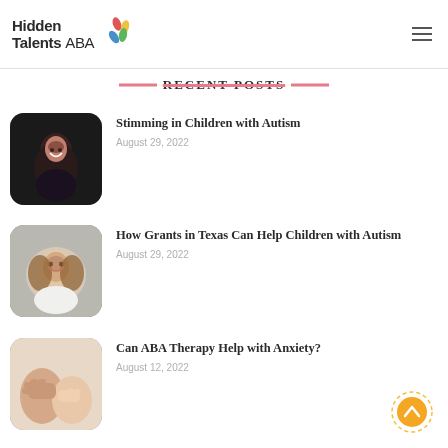[Figure (logo): Hidden Talents ABA logo with colorful leaf/petal icons]
RECENT POSTS
[Figure (photo): Young girl laughing, holding something, dark background, rounded square thumbnail]
Stimming in Children with Autism
August 29, 2022
[Figure (photo): Smiling toddler girl lying down, rounded square thumbnail]
How Grants in Texas Can Help Children with Autism
August 29, 2022
[Figure (photo): Hands holding a child's hands, soft lighting, rounded square thumbnail]
Can ABA Therapy Help with Anxiety?
August 12, 2022